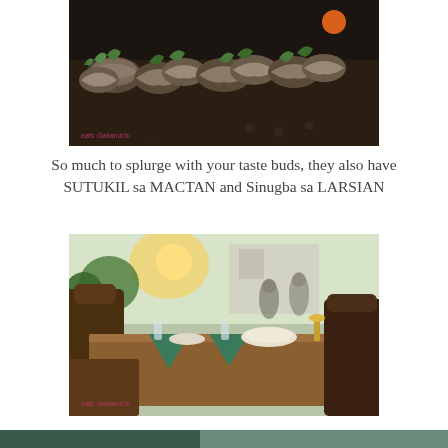[Figure (photo): Photo of shellfish/scallops displayed on a dark counter or grill, garnished with green herbs, shot in a restaurant setting.]
So much to splurge with your taste buds, they also have SUTUKIL sa MACTAN and Sinugba sa LARSIAN
[Figure (photo): Photo of a restaurant dining area with wooden tables and chairs, green folded napkins, warm ambient lighting, and large windows showing greenery outside.]
[Figure (photo): Partial photo at the bottom edge of the page showing a restaurant or food scene.]